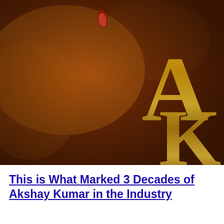[Figure (photo): Movie poster image with warm amber/orange and dark brown tones showing large golden stylized letters 'A' and 'K' on a dark background with smoky atmosphere and a hanging red object at the top center]
This is What Marked 3 Decades of Akshay Kumar in the Industry